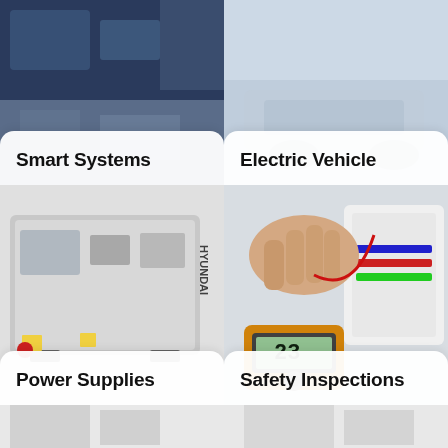[Figure (photo): Smart home / smart systems interior photo with blue tones]
Smart Systems
[Figure (photo): Electric vehicle charging or related photo]
Electric Vehicle
[Figure (photo): Hyundai industrial power generator / power supply unit]
Power Supplies
[Figure (photo): Electrician using multimeter for safety inspection of wiring]
Safety Inspections
[Figure (photo): Bottom partial view of additional category images]